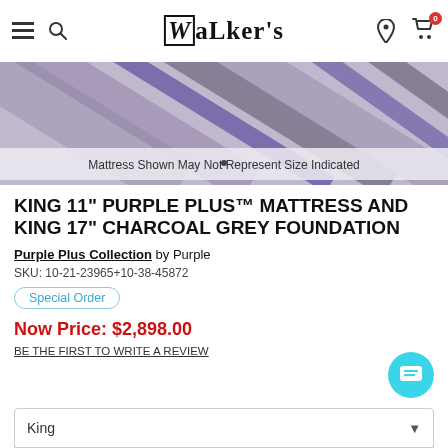Walker's — navigation bar with menu, search, logo, location, and cart icons
[Figure (photo): Close-up photo of a mattress with purple and grey striped ticking fabric. Text overlay reads: Mattress Shown May Not Represent Size Indicated.]
Mattress Shown May Not Represent Size Indicated
KING 11" PURPLE PLUS™ MATTRESS AND KING 17" CHARCOAL GREY FOUNDATION
Purple Plus Collection by Purple
SKU: 10-21-23965+10-38-45872
Special Order
Now Price: $2,898.00
BE THE FIRST TO WRITE A REVIEW
King